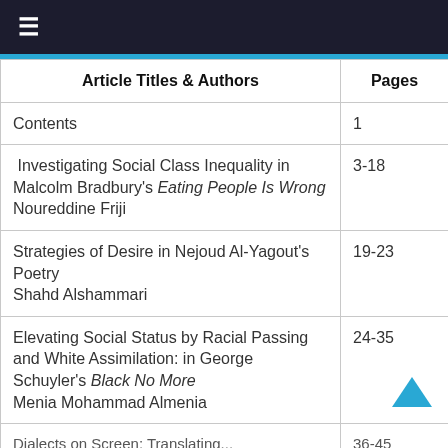☰ (hamburger menu)
| Article Titles & Authors | Pages |
| --- | --- |
| Contents | 1 |
| Investigating Social Class Inequality in Malcolm Bradbury's Eating People Is Wrong
Noureddine Friji | 3-18 |
| Strategies of Desire in Nejoud Al-Yagout's Poetry
Shahd Alshammari | 19-23 |
| Elevating Social Status by Racial Passing and White Assimilation: in George Schuyler's Black No More
Menia Mohammad Almenia | 24-35 |
| Dialects on Screen: Translating... | 36-45 |